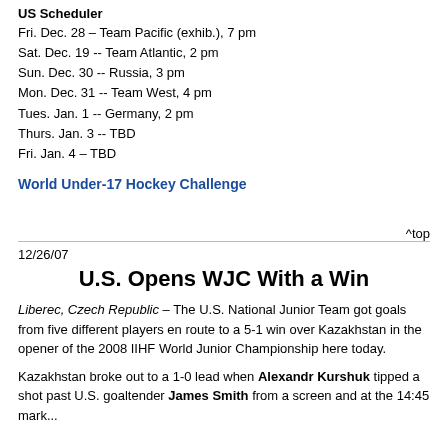US Scheduler
Fri. Dec. 28 – Team Pacific (exhib.), 7 pm
Sat. Dec. 19 -- Team Atlantic, 2 pm
Sun. Dec. 30 -- Russia, 3 pm
Mon. Dec. 31 -- Team West, 4 pm
Tues. Jan. 1 -- Germany, 2 pm
Thurs. Jan. 3 -- TBD
Fri. Jan. 4 – TBD
World Under-17 Hockey Challenge
^top
12/26/07
U.S. Opens WJC With a Win
Liberec, Czech Republic – The U.S. National Junior Team got goals from five different players en route to a 5-1 win over Kazakhstan in the opener of the 2008 IIHF World Junior Championship here today.
Kazakhstan broke out to a 1-0 lead when Alexandr Kurshuk tipped a shot past U.S. goaltender James Smith from a screen and at the 14:45 mark...